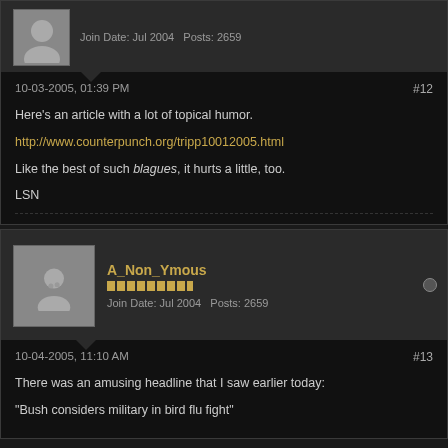Join Date: Jul 2004   Posts: 2659
10-03-2005, 01:39 PM   #12
Here's an article with a lot of topical humor.
http://www.counterpunch.org/tripp10012005.html
Like the best of such blagues, it hurts a little, too.
LSN
A_Non_Ymous
Join Date: Jul 2004   Posts: 2659
10-04-2005, 11:10 AM   #13
There was an amusing headline that I saw earlier today:
"Bush considers military in bird flu fight"